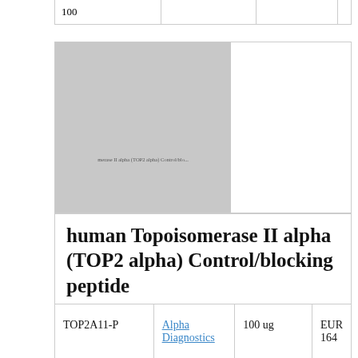| 100 |  |  |  |
[Figure (photo): Product image placeholder for human Topoisomerase II alpha (TOP2 alpha) Control/blocking peptide]
human Topoisomerase II alpha (TOP2 alpha) Control/blocking peptide
| TOP2A11-P | Alpha Diagnostics | 100 ug | EUR 164 |